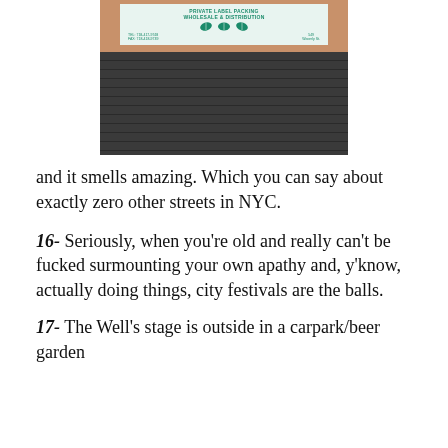[Figure (photo): Photo of a building exterior: a sign reading 'PRIVATE LABEL PACKING WHOLESALE & DISTRIBUTION' with three green leaf logos and contact info, mounted on a brick wall above a dark garage door/shuttered wall.]
and it smells amazing. Which you can say about exactly zero other streets in NYC.
16- Seriously, when you're old and really can't be fucked surmounting your own apathy and, y'know, actually doing things, city festivals are the balls.
17- The Well's stage is outside in a carpark/beer garden